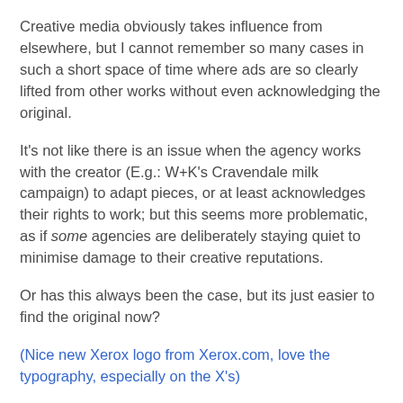Creative media obviously takes influence from elsewhere, but I cannot remember so many cases in such a short space of time where ads are so clearly lifted from other works without even acknowledging the original.
It's not like there is an issue when the agency works with the creator (E.g.: W+K's Cravendale milk campaign) to adapt pieces, or at least acknowledges their rights to work; but this seems more problematic, as if some agencies are deliberately staying quiet to minimise damage to their creative reputations.
Or has this always been the case, but its just easier to find the original now?
(Nice new Xerox logo from Xerox.com, love the typography, especially on the X's)
Rob Mortimer (aka Famous Rob)    No comments:
Share